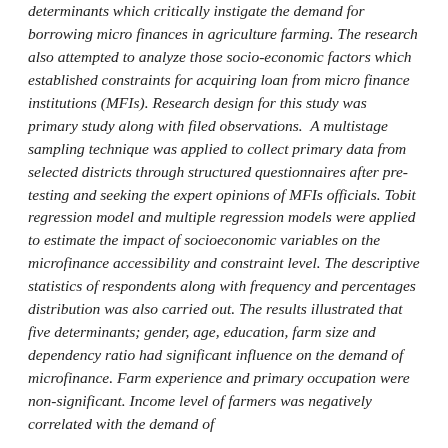determinants which critically instigate the demand for borrowing micro finances in agriculture farming. The research also attempted to analyze those socio-economic factors which established constraints for acquiring loan from micro finance institutions (MFIs). Research design for this study was primary study along with filed observations.  A multistage sampling technique was applied to collect primary data from selected districts through structured questionnaires after pre-testing and seeking the expert opinions of MFIs officials. Tobit regression model and multiple regression models were applied to estimate the impact of socioeconomic variables on the microfinance accessibility and constraint level. The descriptive statistics of respondents along with frequency and percentages distribution was also carried out. The results illustrated that five determinants; gender, age, education, farm size and dependency ratio had significant influence on the demand of microfinance. Farm experience and primary occupation were non-significant. Income level of farmers was negatively correlated with the demand of